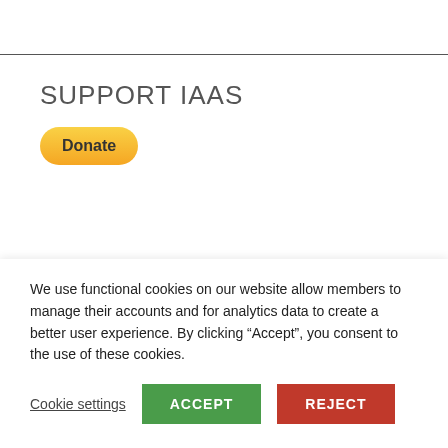SUPPORT IAAS
[Figure (other): PayPal Donate button — yellow rounded rectangle with bold text 'Donate']
JOIN OUR MAILING LIST
We use functional cookies on our website allow members to manage their accounts and for analytics data to create a better user experience. By clicking “Accept”, you consent to the use of these cookies.
Cookie settings
ACCEPT
REJECT